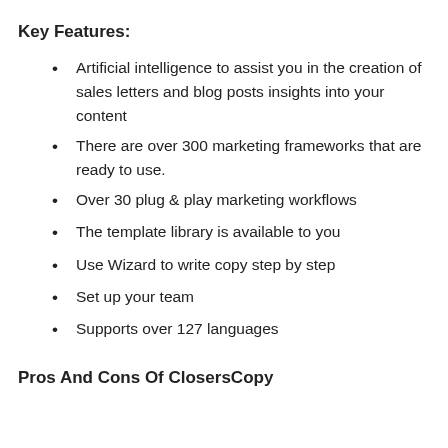Key Features:
Artificial intelligence to assist you in the creation of sales letters and blog posts insights into your content
There are over 300 marketing frameworks that are ready to use.
Over 30 plug & play marketing workflows
The template library is available to you
Use Wizard to write copy step by step
Set up your team
Supports over 127 languages
Pros And Cons Of ClosersCopy